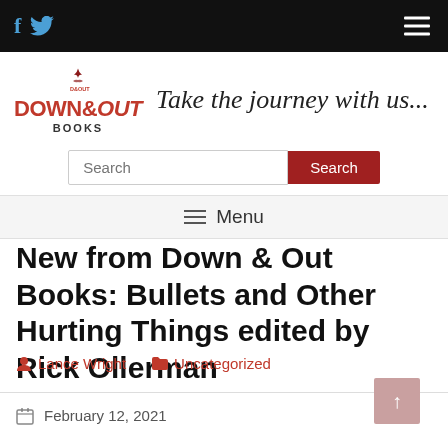Down & Out Books — Take the journey with us...
New from Down & Out Books: Bullets and Other Hurting Things edited by Rick Ollerman
Lance Wright   Uncategorized
February 12, 2021